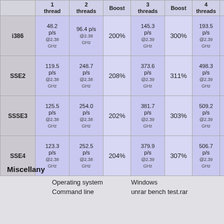|  | 1 thread | 2 threads | Boost | 3 threads | Boost | 4 threads | Bo |
| --- | --- | --- | --- | --- | --- | --- | --- |
| i386 | 48.2 p/s @2.38 GHz | 96.4 p/s @2.38 GHz | 200% | 145.3 p/s @2.39 GHz | 300% | 193.5 p/s @2.39 GHz | 39 |
| SSE2 | 119.5 p/s @2.38 GHz | 248.7 p/s @2.38 GHz | 208% | 373.6 p/s @2.39 GHz | 311% | 498.3 p/s @2.39 GHz | 41 |
| SSSE3 | 125.5 p/s @2.38 GHz | 254.0 p/s @2.38 GHz | 202% | 381.7 p/s @2.39 GHz | 303% | 509.2 p/s @2.39 GHz | 40 |
| SSE4 | 123.3 p/s @2.38 GHz | 252.5 p/s @2.38 GHz | 204% | 379.9 p/s @2.39 GHz | 307% | 506.7 p/s @2.39 GHz | 40 |
Miscellany
Operating system: Windows
Command line: unrar bench test.rar